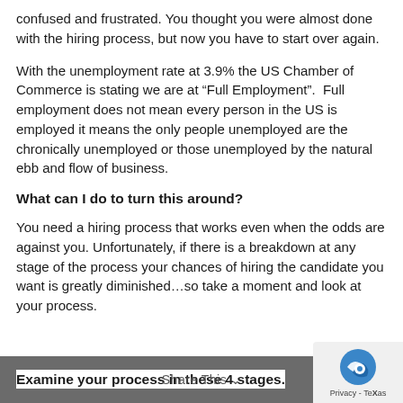confused and frustrated. You thought you were almost done with the hiring process, but now you have to start over again.
With the unemployment rate at 3.9% the US Chamber of Commerce is stating we are at “Full Employment”.  Full employment does not mean every person in the US is employed it means the only people unemployed are the chronically unemployed or those unemployed by the natural ebb and flow of business.
What can I do to turn this around?
You need a hiring process that works even when the odds are against you. Unfortunately, if there is a breakdown at any stage of the process your chances of hiring the candidate you want is greatly diminished…so take a moment and look at your process.
Examine your process in these 4 stages.